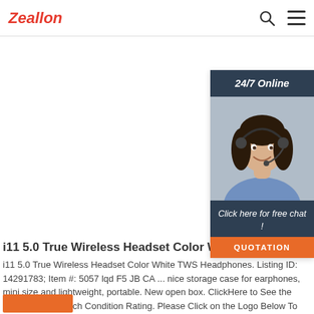Zeallon
[Figure (illustration): Customer support chat widget with woman wearing headset. Header: '24/7 Online'. CTA: 'Click here for free chat!' with orange QUOTATION button.]
i11 5.0 True Wireless Headset Color White TWS
i11 5.0 True Wireless Headset Color White TWS Headphones. Listing ID: 14291783; Item #: 5057 lqd F5 JB CA ... nice storage case for earphones, mini size and lightweight, portable. New open box. ClickHere to See the description for each Condition Rating. Please Click on the Logo Below To See All Our Items!